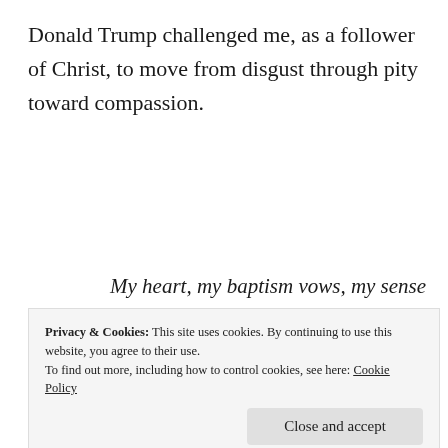Donald Trump challenged me, as a follower of Christ, to move from disgust through pity toward compassion.
My heart, my baptism vows, my sense of ethics compel me to respect the dignity of all human beings and to try, try, try to navigate my words regarding others with kindness.
Privacy & Cookies: This site uses cookies. By continuing to use this website, you agree to their use.
To find out more, including how to control cookies, see here: Cookie Policy
own humanity, unfit for the office for which he is